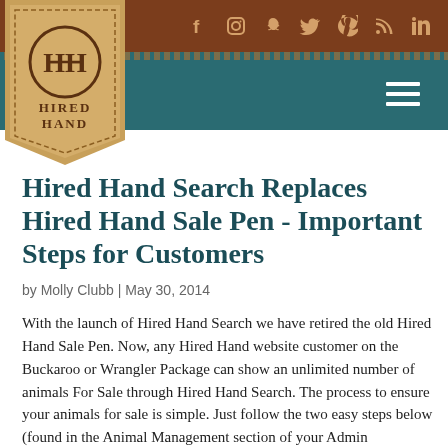Hired Hand — social icons header with navigation
[Figure (logo): Hired Hand logo: circular emblem with HH monogram above text HIRED HAND on a tan leather shield/pennant shape]
Hired Hand Search Replaces Hired Hand Sale Pen - Important Steps for Customers
by Molly Clubb | May 30, 2014
With the launch of Hired Hand Search we have retired the old Hired Hand Sale Pen. Now, any Hired Hand website customer on the Buckaroo or Wrangler Package can show an unlimited number of animals For Sale through Hired Hand Search. The process to ensure your animals for sale is simple. Just follow the two easy steps below (found in the Animal Management section of your Admin Dashboard of Hired Hand): 1. Use